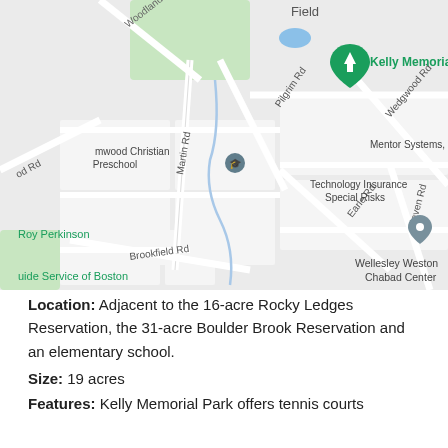[Figure (map): Google Maps screenshot showing Kelly Memorial Park area in Wellesley/Weston MA, with road labels including Martin Rd, Pilgrim Rd, Earle Rd, Wedgwood Rd, Haven Rd, Brookfield Rd, Woodland Rd, and nearby landmarks including Elmwood Christian Preschool, Mentor Systems Inc, Technology Insurance Special Risks, Roy Perkinson, Guide Service of Boston, Wellesley Weston Chabad Center. A green teardrop map pin marks Kelly Memorial Park with a tree icon, and a teal camera pin marks Guide Service of Boston.]
Location: Adjacent to the 16-acre Rocky Ledges Reservation, the 31-acre Boulder Brook Reservation and an elementary school.
Size: 19 acres
Features: Kelly Memorial Park offers tennis courts